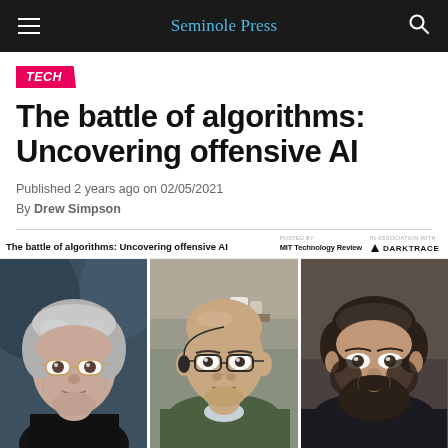Seminole Press
TECH
The battle of algorithms: Uncovering offensive AI
Published 2 years ago on 02/05/2021
By Drew Simpson
[Figure (photo): Video panel showing three panelists in a video conference titled 'The battle of algorithms: Uncovering offensive AI', hosted by MIT Technology Review in association with Darktrace. Three faces visible: older woman with gray hair and glasses on left, bald man with glasses and earphones in center, younger bearded man on right.]